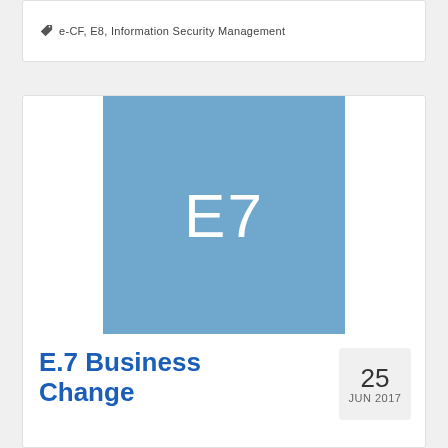e-CF, E8, Information Security Management
[Figure (illustration): Blue square with white text 'E7' centered, representing category E7]
E.7 Business Change
25 JUN 2017